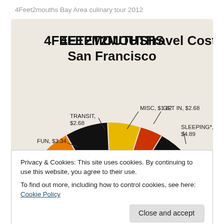4Feet2mouths Bay Area culinary tour 2012
[Figure (pie-chart): Semi-circular 3D pie chart showing travel costs in San Francisco with slices for MISC $1.82, GET IN $2.68, SLEEPING* $4.89, SHOPPING, FUN $3.34, TRANSIT $2.68]
Privacy & Cookies: This site uses cookies. By continuing to use this website, you agree to their use.
To find out more, including how to control cookies, see here: Cookie Policy
Close and accept